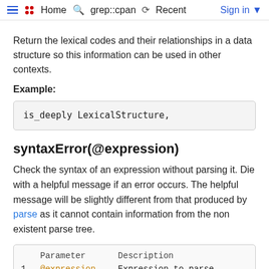Home  grep::cpan  Recent  Sign in
Return the lexical codes and their relationships in a data structure so this information can be used in other contexts.
Example:
is_deeply LexicalStructure,
syntaxError(@expression)
Check the syntax of an expression without parsing it. Die with a helpful message if an error occurs. The helpful message will be slightly different from that produced by parse as it cannot contain information from the non existent parse tree.
|  | Parameter | Description |
| --- | --- | --- |
| 1 | @expression | Expression to parse |